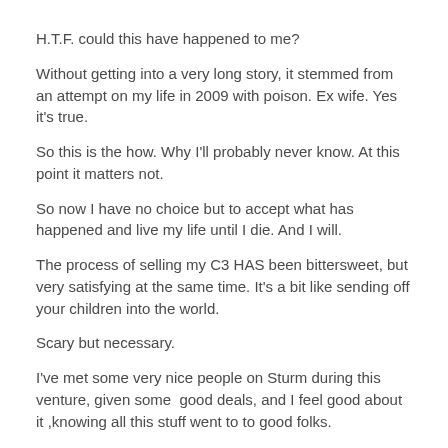H.T.F. could this have happened to me?
Without getting into a very long story, it stemmed from an attempt on my life in 2009 with poison. Ex wife. Yes it's true.
So this is the how. Why I'll probably never know. At this point it matters not.
So now I have no choice but to accept what has happened and live my life until I die. And I will.
The process of selling my C3 HAS been bittersweet, but very satisfying at the same time. It's a bit like sending off your children into the world.
Scary but necessary.
I've met some very nice people on Sturm during this venture, given some  good deals, and I feel good about it ,knowing all this stuff went to to good folks.
A huge thanks to the Albert's for this fine venue. It has been instrumental in making all of my sales connections.